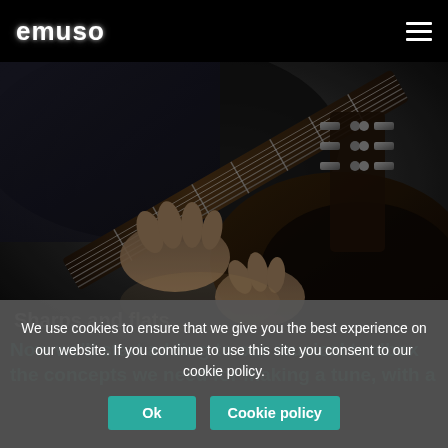emuso
[Figure (photo): Black and white photo of a person playing an acoustic guitar, close-up showing hands on the fretboard and guitar neck with tuning pegs visible]
We use cookies to ensure that we give you the best experience on our website. If you continue to use this site you consent to our cookie policy.
Ok
Cookie policy
Sharps and flats
Now we'll start adding to our musical toolbox the concepts we need for making a tune, with a